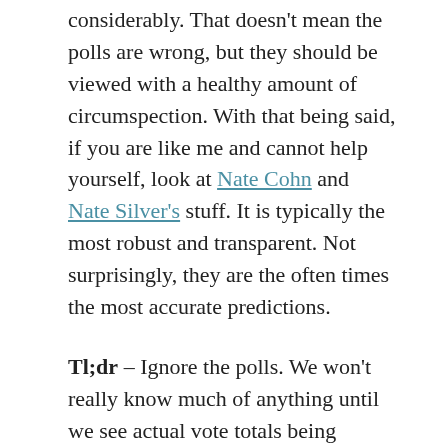considerably. That doesn't mean the polls are wrong, but they should be viewed with a healthy amount of circumspection. With that being said, if you are like me and cannot help yourself, look at Nate Cohn and Nate Silver's stuff. It is typically the most robust and transparent. Not surprisingly, they are the often times the most accurate predictions.
Tl;dr – Ignore the polls. We won't really know much of anything until we see actual vote totals being counted. The rest is just theater.
Scott Atchison / November 1, 2020 / Uncategorized / election 2020, political polls, statistics, survey methodology, total survey error / Leave a comment